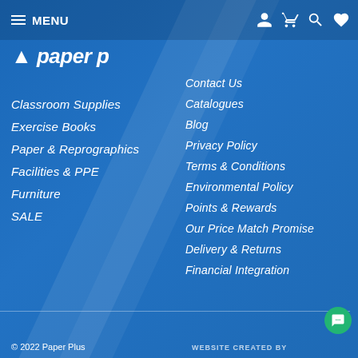MENU
[Figure (logo): Paper Plus logo - white text on blue background, partial view showing 'paper p' text]
Classroom Supplies
Exercise Books
Paper & Reprographics
Facilities & PPE
Furniture
SALE
Contact Us
Catalogues
Blog
Privacy Policy
Terms & Conditions
Environmental Policy
Points & Rewards
Our Price Match Promise
Delivery & Returns
Financial Integration
© 2022 Paper Plus
WEBSITE CREATED BY